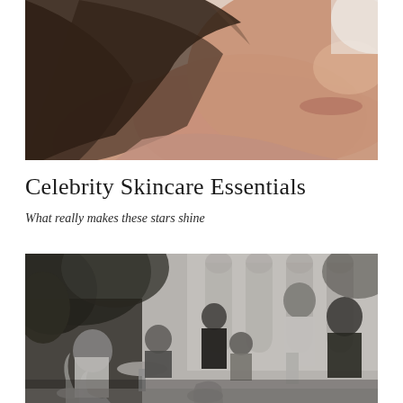[Figure (photo): Close-up portrait of a woman with brown hair lying down, warm skin tones, soft-focus background of white fabric]
Celebrity Skincare Essentials
What really makes these stars shine
[Figure (photo): Black and white photograph of a group of people gathered at an outdoor cafe or terrace with ornate white iron furniture and arched windows in the background]